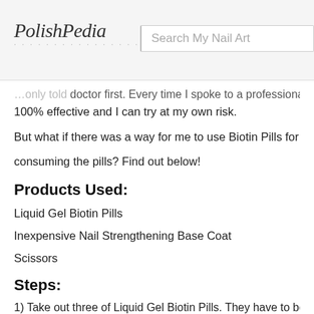PolishPedia | Search My Nail Art
…only told 100% effective and I can try at my own risk.
But what if there was a way for me to use Biotin Pills for my nails without consuming the pills? Find out below!
Products Used:
Liquid Gel Biotin Pills
Inexpensive Nail Strengthening Base Coat
Scissors
Steps:
1) Take out three of Liquid Gel Biotin Pills. They have to be liq…
2) Using a pair of scissors, snip off the very top of the pill, leaving the contents out.
3) Squeeze out the contents off the pill into your Inexpensive N…